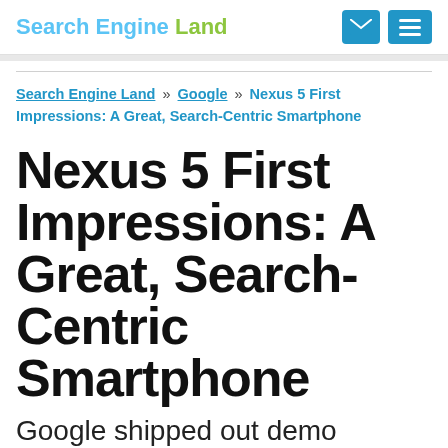Search Engine Land
Search Engine Land » Google » Nexus 5 First Impressions: A Great, Search-Centric Smartphone
Nexus 5 First Impressions: A Great, Search-Centric Smartphone
Google shipped out demo versions of the